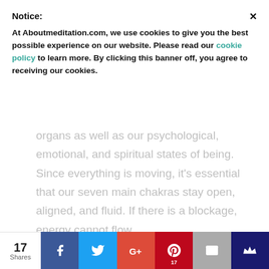Notice:
At Aboutmeditation.com, we use cookies to give you the best possible experience on our website. Please read our cookie policy to learn more. By clicking this banner off, you agree to receiving our cookies.
organs as well as our psychological, emotional, and spiritual states of being. Since everything is moving, it’s essential that our seven main chakras stay open, aligned, and fluid. If there is a blockage, energy cannot flow.
Think of something as simple as your
17 Shares | Facebook | Twitter | Google+ | Pinterest (17) | Email | Crown